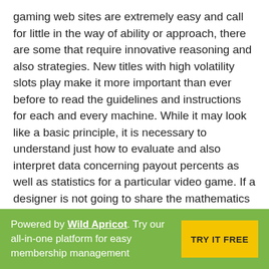gaming web sites are extremely easy and call for little in the way of ability or approach, there are some that require innovative reasoning and also strategies. New titles with high volatility slots play make it more important than ever before to read the guidelines and instructions for each and every machine. While it may look like a basic principle, it is necessary to understand just how to evaluate and also interpret data concerning payout percents as well as statistics for a particular video game. If a designer is not going to share the mathematics behind the video game's stats, then playing the machine using techniques that do not apply may result in a loss of cash. New titles that supply greater prize payments and also better video game use are coming to be more important to casino proprietors as they seek to boost earnings.
Powered by Wild Apricot. Try our all-in-one platform for easy membership management   TRY IT FREE